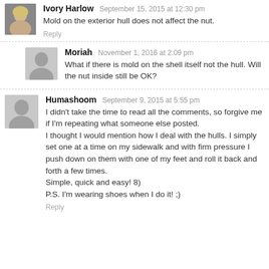[Figure (photo): Avatar photo of Ivory Harlow, blonde woman]
Ivory Harlow September 15, 2015 at 12:30 pm
Mold on the exterior hull does not affect the nut.
Reply
[Figure (illustration): Generic grey person silhouette avatar for Moriah]
Moriah November 1, 2016 at 2:09 pm
What if there is mold on the shell itself not the hull. Will the nut inside still be OK?
[Figure (illustration): Generic grey person silhouette avatar for Humashoom]
Humashoom September 9, 2015 at 5:55 pm
I didn't take the time to read all the comments, so forgive me if I'm repeating what someone else posted.
I thought I would mention how I deal with the hulls. I simply set one at a time on my sidewalk and with firm pressure I push down on them with one of my feet and roll it back and forth a few times.
Simple, quick and easy! 8)
P.S. I'm wearing shoes when I do it! ;)
Reply